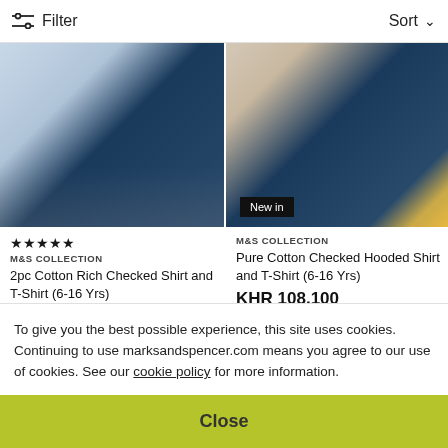Filter  Sort
[Figure (photo): Child wearing checked shirt and jeans, sitting on white background]
[Figure (photo): Child wearing checked hooded shirt over t-shirt with 'New in' badge]
★★★★★
M&S COLLECTION
2pc Cotton Rich Checked Shirt and T-Shirt (6-16 Yrs)
KHR 96,100
M&S COLLECTION
Pure Cotton Checked Hooded Shirt and T-Shirt (6-16 Yrs)
KHR 108,100
[Figure (photo): Young child with curly hair peeking into frame from below]
[Figure (photo): Young child with short dark hair looking at camera]
To give you the best possible experience, this site uses cookies. Continuing to use marksandspencer.com means you agree to our use of cookies. See our cookie policy for more information.
Close